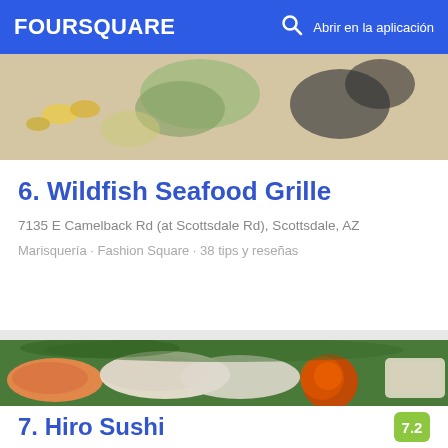FOURSQUARE  Abrir en la aplicación
[Figure (photo): Top food photo showing sushi or Japanese food items on a plate]
6. Wildfish Seafood Grille
7135 E Camelback Rd (at Scottsdale Rd), Scottsdale, AZ
Marisquería · Fashion Square · 38 tips y reseñas
[Figure (photo): Photo of sashimi platter with salmon, white fish, tobiko (orange roe), and wrapped items on green leaves]
7. Hiro Sushi